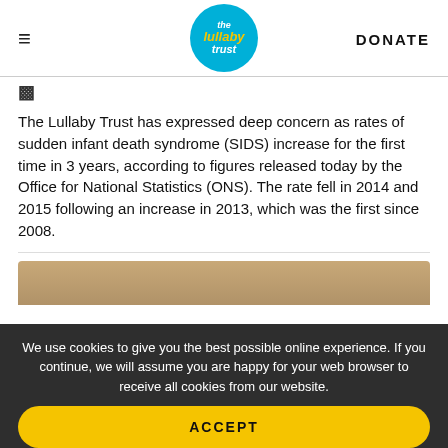≡  the lullaby trust  DONATE
The Lullaby Trust has expressed deep concern as rates of sudden infant death syndrome (SIDS) increase for the first time in 3 years, according to figures released today by the Office for National Statistics (ONS). The rate fell in 2014 and 2015 following an increase in 2013, which was the first since 2008.
[Figure (photo): Partial view of an infant-related photo, cropped at bottom of visible area]
We use cookies to give you the best possible online experience. If you continue, we will assume you are happy for your web browser to receive all cookies from our website.
ACCEPT